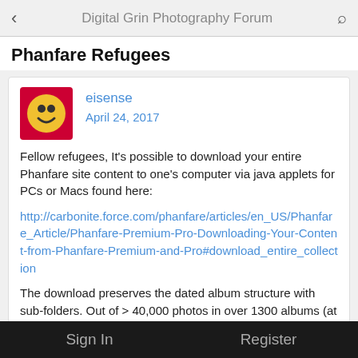Digital Grin Photography Forum
Phanfare Refugees
eisense
April 24, 2017
Fellow refugees, It's possible to download your entire Phanfare site content to one's computer via java applets for PCs or Macs found here:
http://carbonite.force.com/phanfare/articles/en_US/Phanfare_Article/Phanfare-Premium-Pro-Downloading-Your-Content-from-Phanfare-Premium-and-Pro#download_entire_collection
The download preserves the dated album structure with sub-folders. Out of > 40,000 photos in over 1300 albums (at the end of the transfer process an error message revealed the filenames (including the filepaths from where they were uploaded to Phanfare) for about 600 files. That's a 0.7%
Sign In    Register